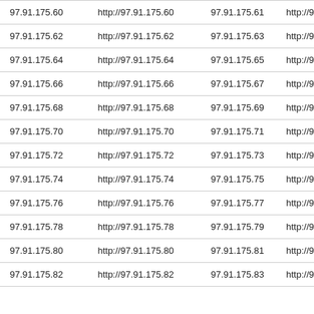| 97.91.175.60 | http://97.91.175.60 | 97.91.175.61 | http://97.9 |
| 97.91.175.62 | http://97.91.175.62 | 97.91.175.63 | http://97.9 |
| 97.91.175.64 | http://97.91.175.64 | 97.91.175.65 | http://97.9 |
| 97.91.175.66 | http://97.91.175.66 | 97.91.175.67 | http://97.9 |
| 97.91.175.68 | http://97.91.175.68 | 97.91.175.69 | http://97.9 |
| 97.91.175.70 | http://97.91.175.70 | 97.91.175.71 | http://97.9 |
| 97.91.175.72 | http://97.91.175.72 | 97.91.175.73 | http://97.9 |
| 97.91.175.74 | http://97.91.175.74 | 97.91.175.75 | http://97.9 |
| 97.91.175.76 | http://97.91.175.76 | 97.91.175.77 | http://97.9 |
| 97.91.175.78 | http://97.91.175.78 | 97.91.175.79 | http://97.9 |
| 97.91.175.80 | http://97.91.175.80 | 97.91.175.81 | http://97.9 |
| 97.91.175.82 | http://97.91.175.82 | 97.91.175.83 | http://97.9 |